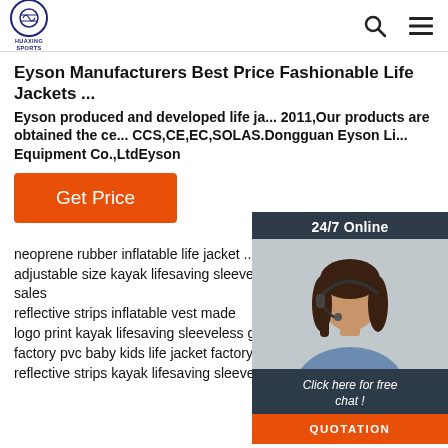HUAXING SPORTS
Eyson Manufacturers Best Price Fashionable Life Jackets ...
Eyson produced and developed life ja... 2011,Our products are obtained the ce... CCS,CE,EC,SOLAS.Dongguan Eyson Li... Equipment Co.,LtdEyson
[Figure (photo): Customer service representative with headset, 24/7 Online chat widget with QUOTATION button]
Get Price
neoprene rubber inflatable life jacket ... service
adjustable size kayak lifesaving sleeveless garment factory direct sales
reflective strips inflatable vest made
logo print kayak lifesaving sleeveless garment credit guarantee
factory pvc baby kids life jacket factory direct sales
reflective strips kayak lifesaving sleeveless...